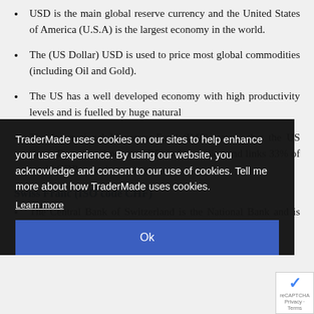USD is the main global reserve currency and the United States of America (U.S.A) is the largest economy in the world.
The (US Dollar) USD is used to price most global commodities (including Oil and Gold).
The US has a well developed economy with high productivity levels and is fuelled by huge natural
The International Monetary Fund (IMF) states that the US Gross Domestic Product (GDP) is $15 trillion and links 33% of world GDP to exchange rates.
Swiss Franc (ISO code CHF)
The Central Bank of Switzerland is the National Bank and is responsible for the
TraderMade uses cookies on our sites to help enhance your user experience. By using our website, you acknowledge and consent to our use of cookies. Tell me more about how TraderMade uses cookies.
Learn more
Ok